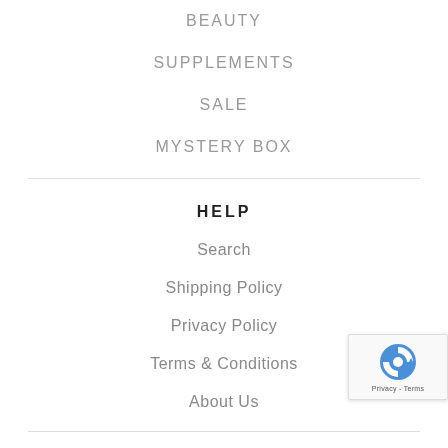BEAUTY
SUPPLEMENTS
SALE
MYSTERY BOX
HELP
Search
Shipping Policy
Privacy Policy
Terms & Conditions
About Us
CONTACT US